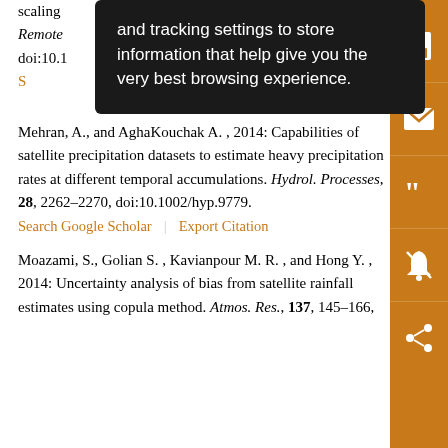scaling ... Remote ... doi:10.1...
and tracking settings to store information that help give you the very best browsing experience.
Mehran, A., and AghaKouchak A. , 2014: Capabilities of satellite precipitation datasets to estimate heavy precipitation rates at different temporal accumulations. Hydrol. Processes, 28, 2262–2270, doi:10.1002/hyp.9779.
Search Google Scholar | Export Citation
Moazami, S., Golian S. , Kavianpour M. R. , and Hong Y. , 2014: Uncertainty analysis of bias from satellite rainfall estimates using copula method. Atmos. Res., 137, 145–166,